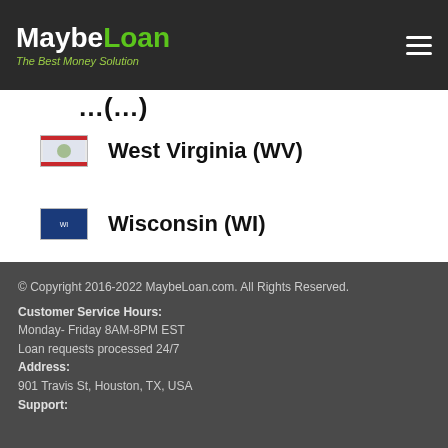MaybeLoan — The Best Money Solution
…(…)
West Virginia (WV)
Wisconsin (WI)
Wyoming (WY)
© Copyright 2016-2022 MaybeLoan.com. All Rights Reserved.
Customer Service Hours:
Monday- Friday 8AM-8PM EST
Loan requests processed 24/7
Address:
901 Travis St, Houston, TX, USA
Support: